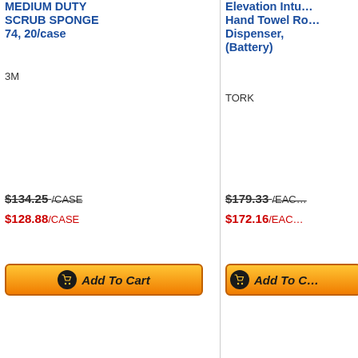MEDIUM DUTY SCRUB SPONGE 74, 20/case
3M
$134.25 /CASE
$128.88/CASE
[Figure (other): Add To Cart button for 3M MEDIUM DUTY SCRUB SPONGE]
Elevation Intuition Hand Towel Roll Dispenser, (Battery)
TORK
$179.33 /EACH
$172.16/EACH
[Figure (other): Add To Cart button for TORK Elevation Intuition Hand Towel Roll Dispenser]
Results 1-4
CUSTOMER SUPPORT
TERMS OF SERVICE
Contact Us
Frequently Asked Questions
Order & Payment Policy
Privacy Policy
Returns Policy
Shipping Policy
Terms & Conditions of Use